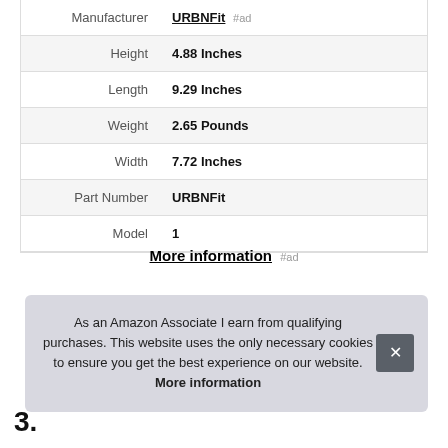| Attribute | Value |
| --- | --- |
| Manufacturer | URBNFit #ad |
| Height | 4.88 Inches |
| Length | 9.29 Inches |
| Weight | 2.65 Pounds |
| Width | 7.72 Inches |
| Part Number | URBNFit |
| Model | 1 |
More information #ad
As an Amazon Associate I earn from qualifying purchases. This website uses the only necessary cookies to ensure you get the best experience on our website. More information
3.